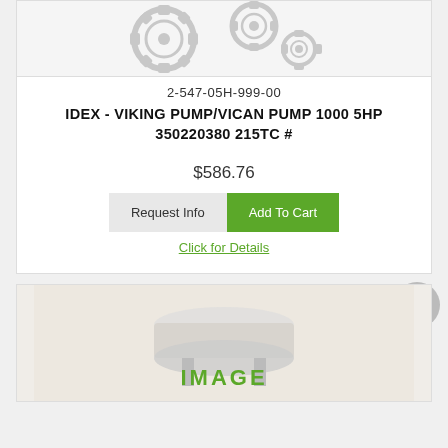[Figure (photo): Gear mechanism product image, light gray metallic gears on white background]
2-547-05H-999-00
IDEX - VIKING PUMP/VICAN PUMP 1000 5HP 350220380 215TC #
$586.76
Request Info
Add To Cart
Click for Details
[Figure (photo): Piston/engine part product image with IMAGE text overlay in green]